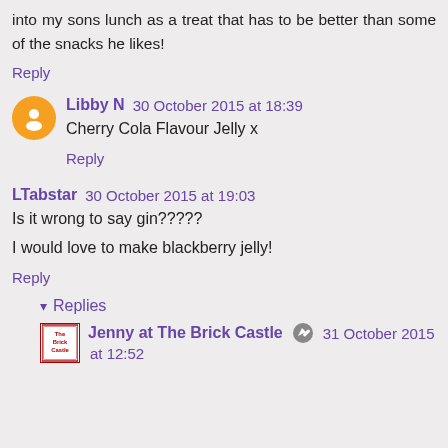into my sons lunch as a treat that has to be better than some of the snacks he likes!
Reply
Libby N  30 October 2015 at 18:39
Cherry Cola Flavour Jelly x
Reply
LTabstar  30 October 2015 at 19:03
Is it wrong to say gin?????
I would love to make blackberry jelly!
Reply
▾ Replies
Jenny at The Brick Castle  31 October 2015 at 12:52